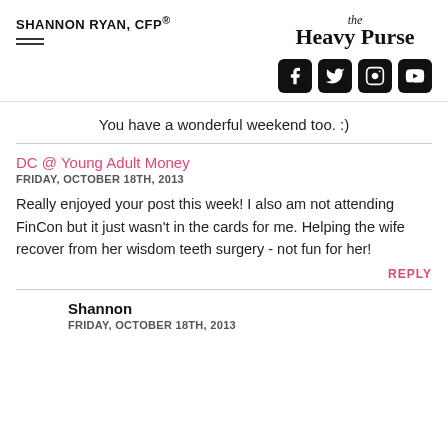SHANNON RYAN, CFP® | the Heavy Purse
You have a wonderful weekend too. :)
DC @ Young Adult Money
FRIDAY, OCTOBER 18TH, 2013
Really enjoyed your post this week! I also am not attending FinCon but it just wasn't in the cards for me. Helping the wife recover from her wisdom teeth surgery - not fun for her!
REPLY
Shannon
FRIDAY, OCTOBER 18TH, 2013